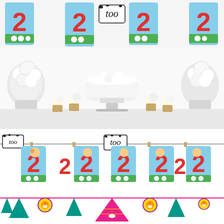[Figure (photo): Product photo collage showing party decorations. Top section: farm animal themed '2nd birthday' number cutouts arranged in a row across the top, followed by a dessert/cake table setup with white floral arrangements, cupcakes, and a white cake on a stand. Middle section: a garland banner with farm animal '2' number cutouts hanging from a string with clothespins, with a 'two' text piece in cow print. Bottom section: a colorful Diwali/festival themed pennant banner with teal and pink triangles, decorative circular medallions with oil lamp (diya) designs, hanging on a string.]